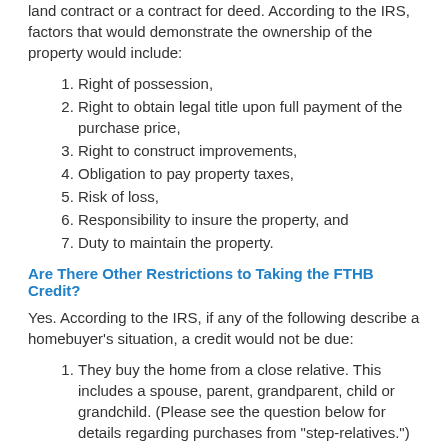land contract or a contract for deed. According to the IRS, factors that would demonstrate the ownership of the property would include:
Right of possession,
Right to obtain legal title upon full payment of the purchase price,
Right to construct improvements,
Obligation to pay property taxes,
Risk of loss,
Responsibility to insure the property, and
Duty to maintain the property.
Are There Other Restrictions to Taking the FTHB Credit?
Yes. According to the IRS, if any of the following describe a homebuyer's situation, a credit would not be due:
They buy the home from a close relative. This includes a spouse, parent, grandparent, child or grandchild. (Please see the question below for details regarding purchases from "step-relatives.")
They do not use the home as your principal residence.
They sell their home before the end of the year.
They are a nonresident alien.
They are, or were, eligible to claim the District of